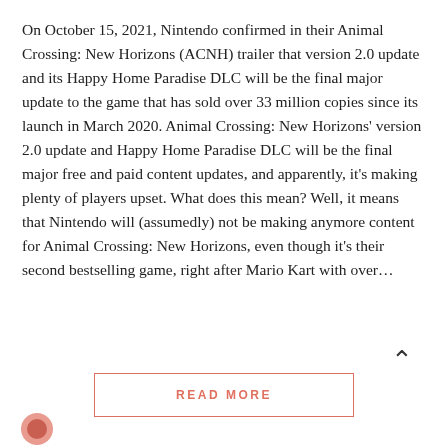On October 15, 2021, Nintendo confirmed in their Animal Crossing: New Horizons (ACNH) trailer that version 2.0 update and its Happy Home Paradise DLC will be the final major update to the game that has sold over 33 million copies since its launch in March 2020. Animal Crossing: New Horizons' version 2.0 update and Happy Home Paradise DLC will be the final major free and paid content updates, and apparently, it's making plenty of players upset. What does this mean? Well, it means that Nintendo will (assumedly) not be making anymore content for Animal Crossing: New Horizons, even though it's their second bestselling game, right after Mario Kart with over…